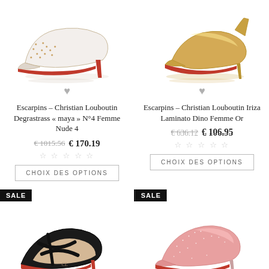[Figure (photo): Clear/transparent high heel pump with gold crystal studs and red sole - Christian Louboutin Degrastrass]
[Figure (photo): Gold metallic pointed-toe high heel pump - Christian Louboutin Iriza Laminato Dino]
Escarpins – Christian Louboutin Degrastrass « maya » N°4 Femme Nude 4
Escarpins – Christian Louboutin Iriza Laminato Dino Femme Or
€ 1015.56  € 170.19
€ 636.12  € 106.95
CHOIX DES OPTIONS
CHOIX DES OPTIONS
SALE
SALE
[Figure (photo): Black patent leather criss-cross strap high heel sandal with red sole - Christian Louboutin]
[Figure (photo): Pink glitter/snake texture pointed-toe high heel pump with red sole - Christian Louboutin]